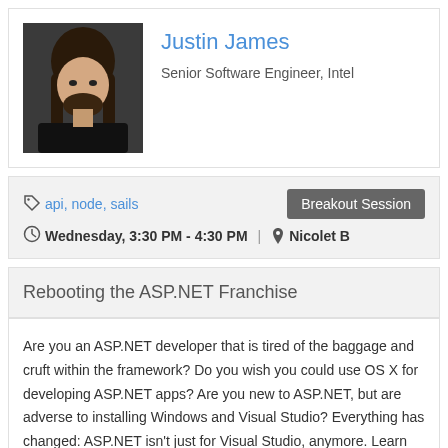Justin James
Senior Software Engineer, Intel
api, node, sails   Breakout Session
Wednesday, 3:30 PM - 4:30 PM  |  Nicolet B
Rebooting the ASP.NET Franchise
Are you an ASP.NET developer that is tired of the baggage and cruft within the framework? Do you wish you could use OS X for developing ASP.NET apps? Are you new to ASP.NET, but are adverse to installing Windows and Visual Studio? Everything has changed: ASP.NET isn't just for Visual Studio, anymore. Learn how ASP.NET has broken free from Windows and has turned into a fresh, cross-platform, OS-agnostic framework. Develop